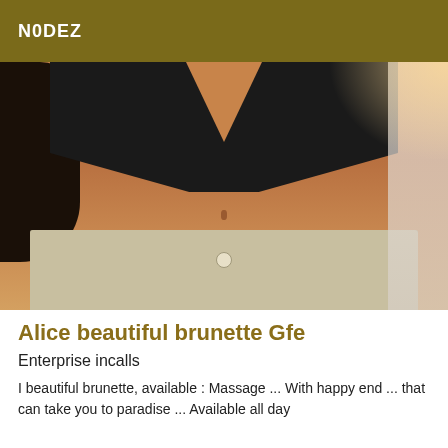N0DEZ
[Figure (photo): Photo of a woman's midsection wearing a black crop top and beige/khaki pants, with dark curly hair on the left side, against a light background with warm lighting on the right.]
Alice beautiful brunette Gfe
Enterprise incalls
I beautiful brunette, available : Massage ... With happy end ... that can take you to paradise ... Available all day